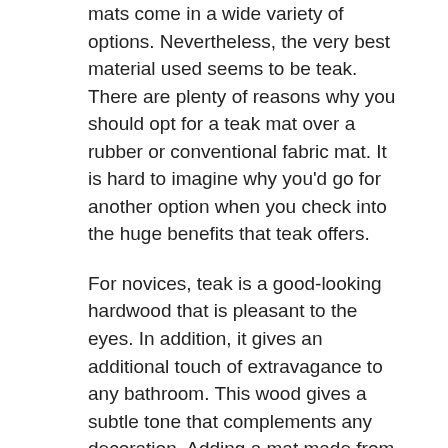mats come in a wide variety of options. Nevertheless, the very best material used seems to be teak. There are plenty of reasons why you should opt for a teak mat over a rubber or conventional fabric mat. It is hard to imagine why you'd go for another option when you check into the huge benefits that teak offers.
For novices, teak is a good-looking hardwood that is pleasant to the eyes. In addition, it gives an additional touch of extravagance to any bathroom. This wood gives a subtle tone that complements any decoration. Adding a mat made from this fabric can enhance the allure of your bathroom substantially. Teak is generally used all around the globe. It takes a southeastern Asian origin. In case your bathroom is centered on a Southeast Asian plan, teak is unquestionably the wood that you should go with when buying mat.
This wood contains silica and natural oils which make it a noticeable choice for use in an exposed application. It is naturally pest and termite proof. It has an incredibly high resilience to any damage due to water. These attributes